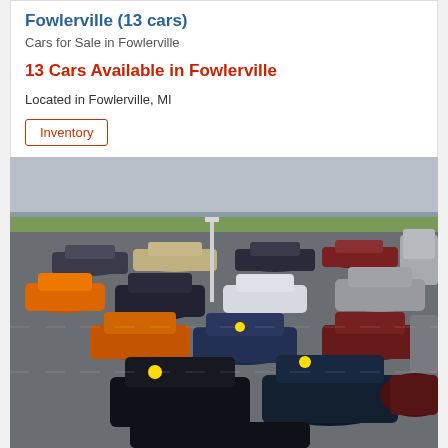Fowlerville (13 cars)
Cars for Sale in Fowlerville
13 Cars Available in Fowlerville
Located in Fowlerville, MI
Inventory
[Figure (photo): Aerial view of a used car dealership lot in Fowlerville, MI, showing numerous cars parked in rows including SUVs, sedans, and vans in various colors. Yellow price stickers visible on windshields.]